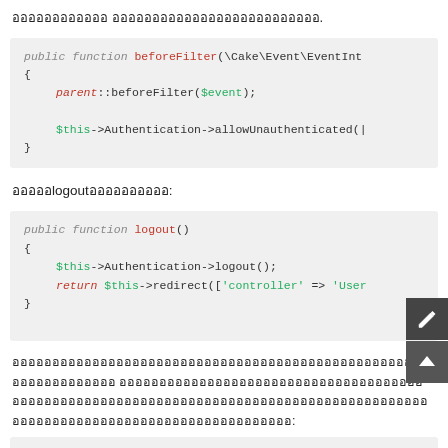ออออออออออออ ออออออออออออออออออออออออออ.
[Figure (screenshot): PHP code block showing public function beforeFilter(\Cake\Event\EventInt... with parent::beforeFilter($event); and $this->Authentication->allowUnauthenticated(|]
อออออlogoutออออออออออ:
[Figure (screenshot): PHP code block showing public function logout() { $this->Authentication->logout(); return $this->redirect(['controller' => 'User... }]
อออออออออออออออออออออออออออออออออออออออออออออออออออออออออออออออออ อออออออออออออออออออออออออออออออออออออออออออออออออออออออออออออออออออออออออออออออออออออออออออออออออออ:
[Figure (screenshot): PHP code block starting with // in src/Model/Entity/User.php]